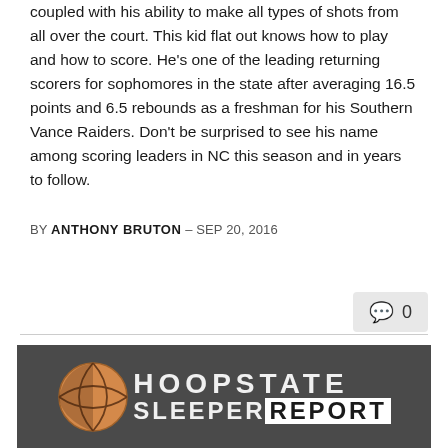coupled with his ability to make all types of shots from all over the court. This kid flat out knows how to play and how to score. He's one of the leading returning scorers for sophomores in the state after averaging 16.5 points and 6.5 rebounds as a freshman for his Southern Vance Raiders. Don't be surprised to see his name among scoring leaders in NC this season and in years to follow.
BY ANTHONY BRUTON – SEP 20, 2016
[Figure (logo): Hoopstate Sleeper Report logo: basketball graphic on left, text 'HOOPSTATE' on top line and 'SLEEPERREPORT' on bottom line with 'REPORT' in a white box, all on dark gray background]